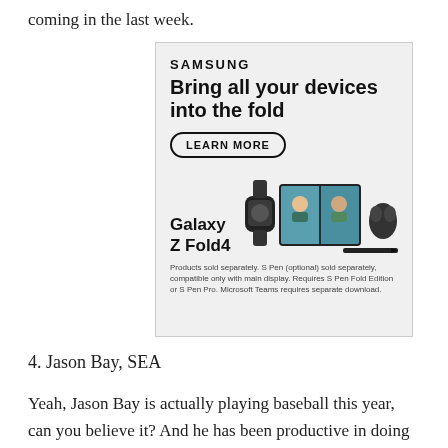coming in the last week.
[Figure (screenshot): Samsung advertisement showing Galaxy Z Fold4 with text 'Bring all your devices into the fold', a LEARN MORE button, and images of Samsung devices including a foldable phone, smartwatch, and earbuds. Disclaimer: Products sold separately. S Pen (optional) sold separately, compatible only with main display. Requires S Pen Fold Edition or S Pen Pro. Microsoft Teams requires separate download.]
4. Jason Bay, SEA
Yeah, Jason Bay is actually playing baseball this year, can you believe it? And he has been productive in doing so as well, as he is hitting .279-.375-.475 with 3